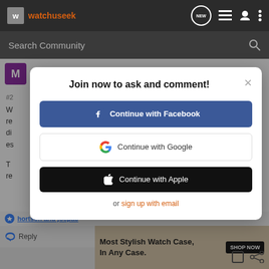[Figure (screenshot): WatchUSeek forum website header with logo, site name, and navigation icons on dark background]
Search Community
Joined May 19, 2013 · 117 Posts
#2
W
re
di
es
T
re
Join now to ask and comment!
Continue with Facebook
Continue with Google
Continue with Apple
or sign up with email
hortson and joepac
Reply
Most Stylish Watch Case, In Any Case.
SHOP NOW